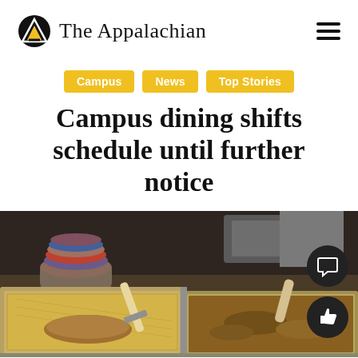The Appalachian
Campus
News
Top Stories
Campus dining shifts schedule until further notice
[Figure (photo): A campus dining hall serving line with stainless steel trays of food, a spatula/turner resting in one tray, stacks of colorful plates visible in the background left, and food service equipment in the background.]